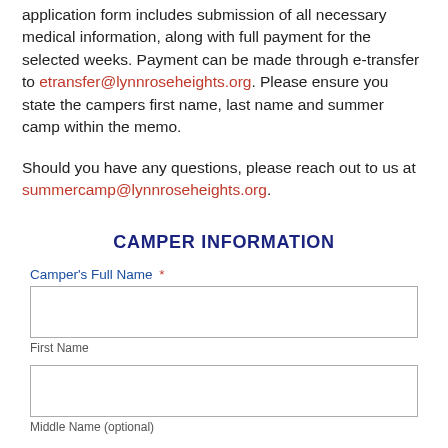application form includes submission of all necessary medical information, along with full payment for the selected weeks. Payment can be made through e-transfer to etransfer@lynnroseheights.org. Please ensure you state the campers first name, last name and summer camp within the memo.
Should you have any questions, please reach out to us at summercamp@lynnroseheights.org.
CAMPER INFORMATION
Camper's Full Name *
First Name
Middle Name (optional)